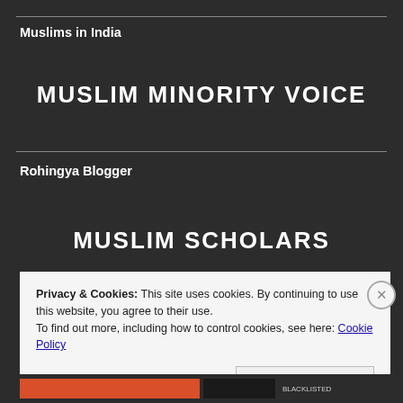Muslims in India
MUSLIM MINORITY VOICE
Rohingya Blogger
MUSLIM SCHOLARS
Privacy & Cookies: This site uses cookies. By continuing to use this website, you agree to their use.
To find out more, including how to control cookies, see here: Cookie Policy
Close and accept